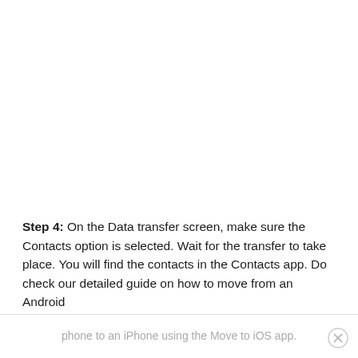Step 4: On the Data transfer screen, make sure the Contacts option is selected. Wait for the transfer to take place. You will find the contacts in the Contacts app. Do check our detailed guide on how to move from an Android
phone to an iPhone using the Move to iOS app.